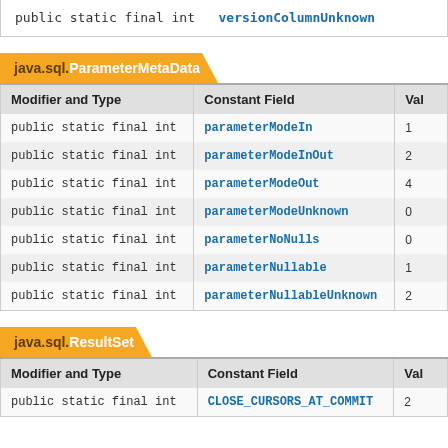public static final int   versionColumnUnknown
java.sql.ParameterMetaData
| Modifier and Type | Constant Field | Val |
| --- | --- | --- |
| public static final int | parameterModeIn | 1 |
| public static final int | parameterModeInOut | 2 |
| public static final int | parameterModeOut | 4 |
| public static final int | parameterModeUnknown | 0 |
| public static final int | parameterNoNulls | 0 |
| public static final int | parameterNullable | 1 |
| public static final int | parameterNullableUnknown | 2 |
java.sql.ResultSet
| Modifier and Type | Constant Field | Val |
| --- | --- | --- |
| public static final int | CLOSE_CURSORS_AT_COMMIT | 2 |